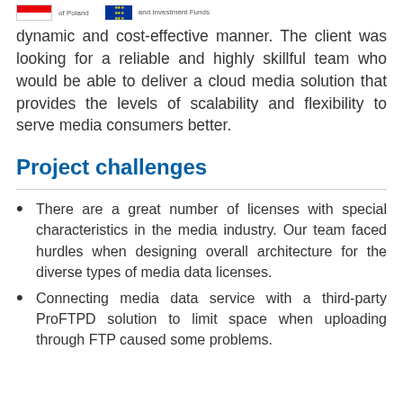of Poland | and Investment Funds
dynamic and cost-effective manner. The client was looking for a reliable and highly skillful team who would be able to deliver a cloud media solution that provides the levels of scalability and flexibility to serve media consumers better.
Project challenges
There are a great number of licenses with special characteristics in the media industry. Our team faced hurdles when designing overall architecture for the diverse types of media data licenses.
Connecting media data service with a third-party ProFTPD solution to limit space when uploading through FTP caused some problems.